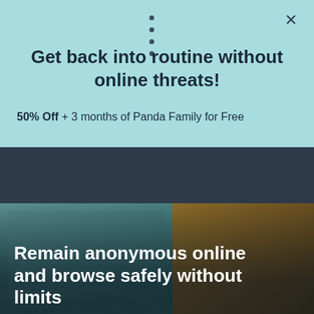Get back into routine without online threats!
50% Off + 3 months of Panda Family for Free
[Figure (screenshot): Navigation bar with dark navy background and a white circular user account icon on the right side]
[Figure (photo): Close-up photo of denim jeans fabric, teal-blue colored, with stitching details visible. Warm amber/brown tones on the right side. Text overlay reads: Remain anonymous online and browse safely without limits]
Remain anonymous online and browse safely without limits